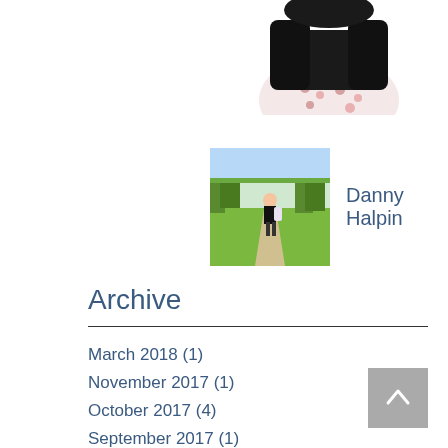[Figure (photo): Partial photo of a person wearing a black top and floral skirt, cropped at top of page]
[Figure (photo): Photo of a person standing on a path with green grass and trees in the background]
Danny Halpin
Archive
March 2018 (1)
November 2017 (1)
October 2017 (4)
September 2017 (1)
July 2017 (4)
June 2017 (3)
May 2017 (3)
April 2017 (4)